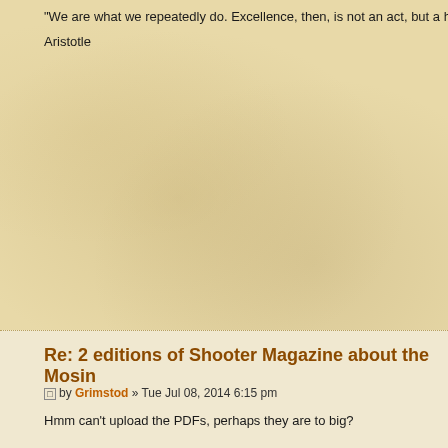"We are what we repeatedly do. Excellence, then, is not an act, but a hab...
Aristotle
[Figure (illustration): Aged parchment or sepia-toned background image filling the upper portion of the page]
Re: 2 editions of Shooter Magazine about the Mosin
by Grimstod » Tue Jul 08, 2014 6:15 pm
Hmm can't upload the PDFs, perhaps they are to big?